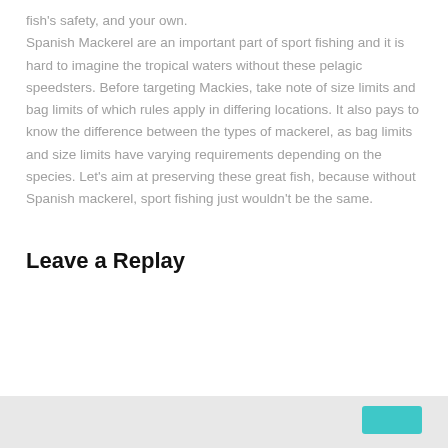fish's safety, and your own.
Spanish Mackerel are an important part of sport fishing and it is hard to imagine the tropical waters without these pelagic speedsters. Before targeting Mackies, take note of size limits and bag limits of which rules apply in differing locations. It also pays to know the difference between the types of mackerel, as bag limits and size limits have varying requirements depending on the species. Let's aim at preserving these great fish, because without Spanish mackerel, sport fishing just wouldn't be the same.
Leave a Replay